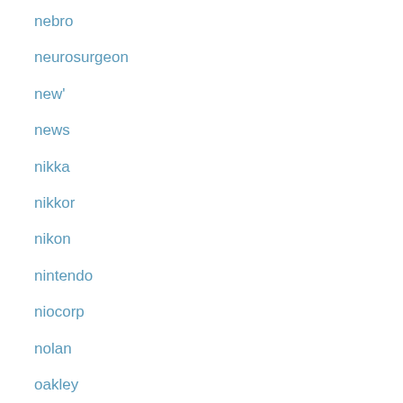nebro
neurosurgeon
new'
news
nikka
nikkor
nikon
nintendo
niocorp
nolan
oakley
obsidian
oceans
oem-